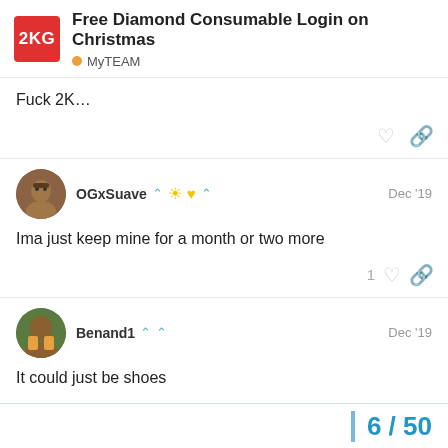Free Diamond Consumable Login on Christmas — MyTEAM
Fuck 2K…
OGxSuave — Dec '19
Ima just keep mine for a month or two more
Benand1 — Dec '19
It could just be shoes
6 / 50